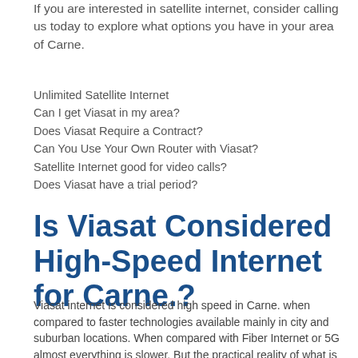If you are interested in satellite internet, consider calling us today to explore what options you have in your area of Carne.
Unlimited Satellite Internet
Can I get Viasat in my area?
Does Viasat Require a Contract?
Can You Use Your Own Router with Viasat?
Satellite Internet good for video calls?
Does Viasat have a trial period?
Is Viasat Considered High-Speed Internet for Carne.?
Viasat internet is considered high speed in Carne. when compared to faster technologies available mainly in city and suburban locations. When compared with Fiber Internet or 5G almost everything is slower. But the practical reality of what is available in your area may mean that Viasat is a good option for your internet